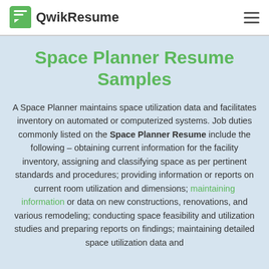QwikResume
Space Planner Resume Samples
A Space Planner maintains space utilization data and facilitates inventory on automated or computerized systems. Job duties commonly listed on the Space Planner Resume include the following – obtaining current information for the facility inventory, assigning and classifying space as per pertinent standards and procedures; providing information or reports on current room utilization and dimensions; maintaining information or data on new constructions, renovations, and various remodeling; conducting space feasibility and utilization studies and preparing reports on findings; maintaining detailed space utilization data and